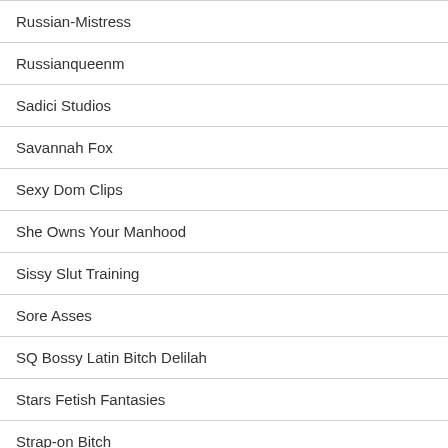Russian-Mistress
Russianqueenm
Sadici Studios
Savannah Fox
Sexy Dom Clips
She Owns Your Manhood
Sissy Slut Training
Sore Asses
SQ Bossy Latin Bitch Delilah
Stars Fetish Fantasies
Strap-on Bitch